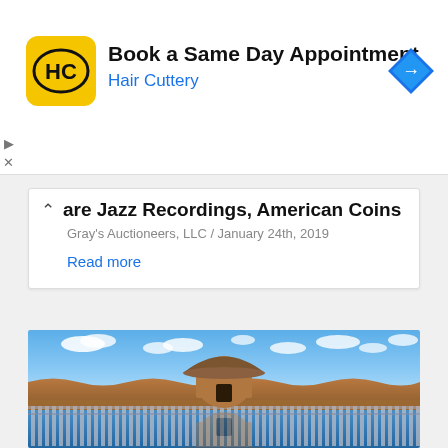[Figure (screenshot): Advertisement banner for Hair Cuttery: 'Book a Same Day Appointment' with yellow HC logo and blue navigation arrow icon]
are Jazz Recordings, American Coins
Gray's Auctioneers, LLC / January 24th, 2019
Read more
[Figure (illustration): Digital illustration of a round stone hut with a thatched/wooden roof situated on a sandy or earthen embankment above water, with blue sky, white clouds above, and a reflection of the structure in the blue water below, with wooden dock pillars visible in the lower portion.]